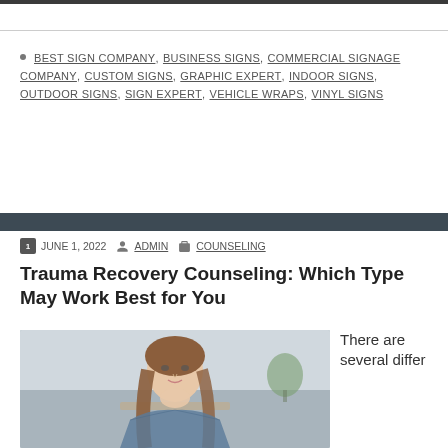BEST SIGN COMPANY, BUSINESS SIGNS, COMMERCIAL SIGNAGE COMPANY, CUSTOM SIGNS, GRAPHIC EXPERT, INDOOR SIGNS, OUTDOOR SIGNS, SIGN EXPERT, VEHICLE WRAPS, VINYL SIGNS
JUNE 1, 2022  ADMIN  COUNSELING
Trauma Recovery Counseling: Which Type May Work Best for You
[Figure (photo): Young woman with long brown hair sitting and looking away thoughtfully with hand near mouth, indoor setting with soft background]
There are several differ